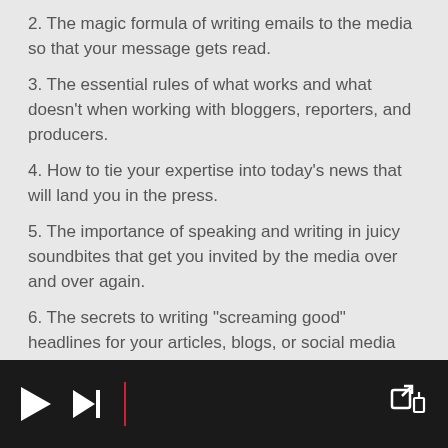2. The magic formula of writing emails to the media so that your message gets read.
3. The essential rules of what works and what doesn't when working with bloggers, reporters, and producers.
4. How to tie your expertise into today's news that will land you in the press.
5. The importance of speaking and writing in juicy soundbites that get you invited by the media over and over again.
6. The secrets to writing "screaming good" headlines for your articles, blogs, or social media savvy press releases.
[Figure (screenshot): Media player control bar with play button, skip button, red divider line, and share icon on dark background]